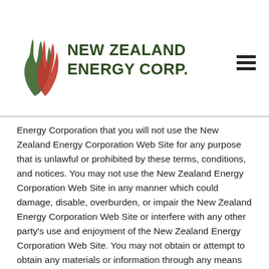NEW ZEALAND ENERGY CORP.
Energy Corporation that you will not use the New Zealand Energy Corporation Web Site for any purpose that is unlawful or prohibited by these terms, conditions, and notices. You may not use the New Zealand Energy Corporation Web Site in any manner which could damage, disable, overburden, or impair the New Zealand Energy Corporation Web Site or interfere with any other party's use and enjoyment of the New Zealand Energy Corporation Web Site. You may not obtain or attempt to obtain any materials or information through any means not intentionally made available or provided for through the New Zealand Energy Corporation Web Sites.
USE OF COMMUNICATION SERVICES
The New Zealand Energy Corporation Web Site may contain bulletin board services, chat areas, news groups,